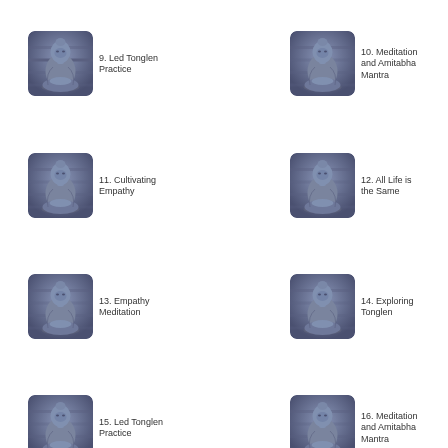[Figure (illustration): Seated Buddha stone statue thumbnail for item 9]
9. Led Tonglen Practice
[Figure (illustration): Seated Buddha stone statue thumbnail for item 10]
10. Meditation and Amitabha Mantra
[Figure (illustration): Seated Buddha stone statue thumbnail for item 11]
11. Cultivating Empathy
[Figure (illustration): Seated Buddha stone statue thumbnail for item 12]
12. All Life is the Same
[Figure (illustration): Seated Buddha stone statue thumbnail for item 13]
13. Empathy Meditation
[Figure (illustration): Seated Buddha stone statue thumbnail for item 14]
14. Exploring Tonglen
[Figure (illustration): Seated Buddha stone statue thumbnail for item 15]
15. Led Tonglen Practice
[Figure (illustration): Seated Buddha stone statue thumbnail for item 16]
16. Meditation and Amitabha Mantra
[Figure (illustration): Seated Buddha stone statue thumbnail for item 17]
17. The Four Noble
[Figure (illustration): Seated Buddha stone statue thumbnail for item 18]
18. Bodhicitta